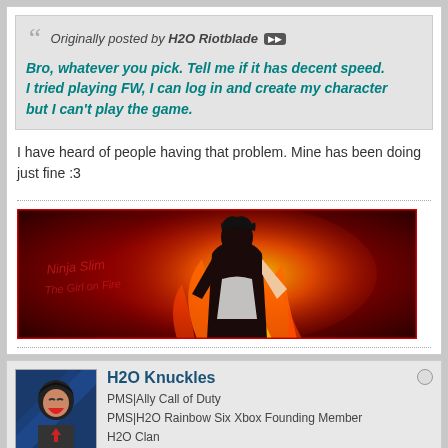Originally posted by H2O Riotblade
Bro, whatever you pick. Tell me if it has decent speed. I tried playing FW, I can log in and create my character but I can't play the game.
I have heard of people having that problem. Mine has been doing just fine :3
[Figure (illustration): Forum signature image: a female anime-style character in fighting pose surrounded by orange and red flames on a dark red background, with stylized text overlay]
H2O Knuckles
PMS|Ally Call of Duty
PMS|H2O Rainbow Six Xbox Founding Member
H2O Clan